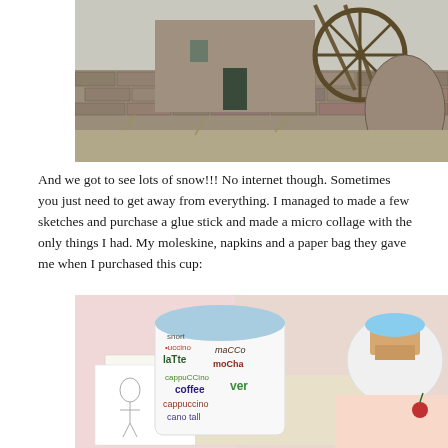[Figure (photo): Black and white photograph of an old stone mill building with a large wooden water wheel structure, stone walls, and bare winter trees in the background.]
And we got to see lots of snow!!! No internet though. Sometimes you just need to get away from everything. I managed to made a few sketches and purchase a glue stick and made a micro collage with the only things I had. My moleskine, napkins and a paper bag they gave me when I purchased this cup:
[Figure (photo): Color photograph of a decorative white coffee cup with words like latte, mocha, cappuccino, coffee, macchiato printed on it in various colors, sitting on a surface next to a plate with a cupcake.]